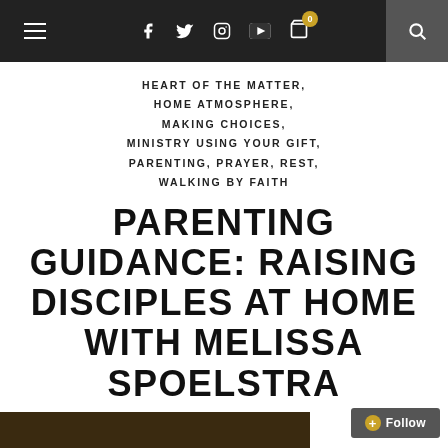Navigation bar with hamburger menu, social icons (Facebook, Twitter, Instagram, YouTube), cart with badge 0, and search
HEART OF THE MATTER,
HOME ATMOSPHERE,
MAKING CHOICES,
MINISTRY USING YOUR GIFT,
PARENTING, PRAYER, REST,
WALKING BY FAITH
PARENTING GUIDANCE: RAISING DISCIPLES AT HOME WITH MELISSA SPOELSTRA
JANUARY 20, 2017